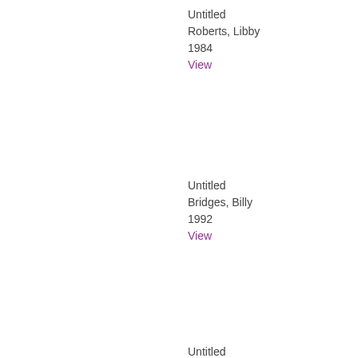Untitled
Roberts, Libby
1984
View
Untitled
Bridges, Billy
1992
View
Untitled
Unknown